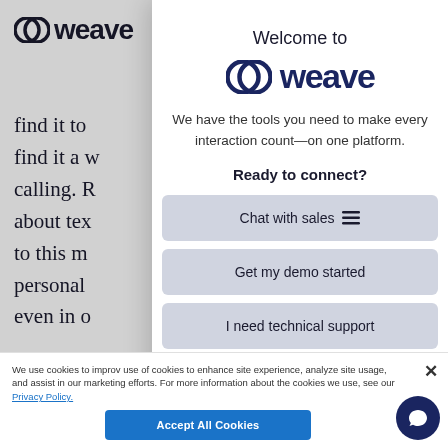[Figure (logo): Weave logo (partially visible) on background page]
find it to find it a w calling. R about tex to this m personal even in o
Shoul Adopt Comm
Welcome to
[Figure (logo): Weave logo in modal: two overlapping circles icon with 'weave' text in dark navy]
We have the tools you need to make every interaction count—on one platform.
Ready to connect?
Chat with sales
Get my demo started
I need technical support
Learn more
We use cookies to improv use of cookies to enhance site experience, analyze site usage, and assist in our marketing efforts. For more information about the cookies we use, see our Privacy Policy.
Accept All Cookies